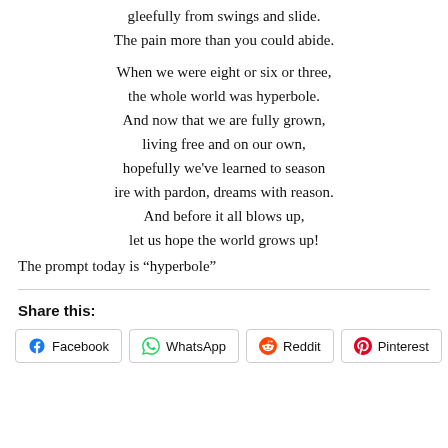gleefully from swings and slide.
The pain more than you could abide.

When we were eight or six or three,
the whole world was hyperbole.
And now that we are fully grown,
living free and on our own,
hopefully we've learned to season
ire with pardon, dreams with reason.
And before it all blows up,
let us hope the world grows up!
The prompt today is “hyperbole”
Share this:
Facebook
WhatsApp
Reddit
Pinterest